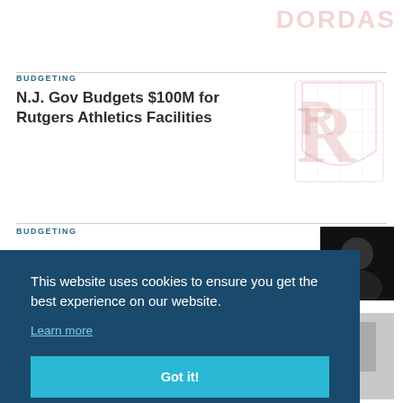DORDAS
BUDGETING
N.J. Gov Budgets $100M for Rutgers Athletics Facilities
[Figure (logo): Rutgers University logo in faded pink/red]
BUDGETING
[Figure (photo): Dark photo of audience/crowd]
[Figure (photo): Photo of people with raised arms]
This website uses cookies to ensure you get the best experience on our website.
Learn more
Got it!
on Mental Health